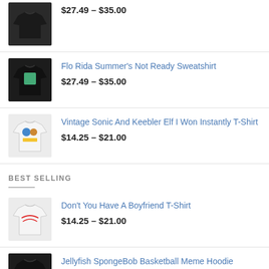$27.49 – $35.00
Flo Rida Summer's Not Ready Sweatshirt
$27.49 – $35.00
Vintage Sonic And Keebler Elf I Won Instantly T-Shirt
$14.25 – $21.00
BEST SELLING
Don't You Have A Boyfriend T-Shirt
$14.25 – $21.00
Jellyfish SpongeBob Basketball Meme Hoodie
$31.75 – $40.00